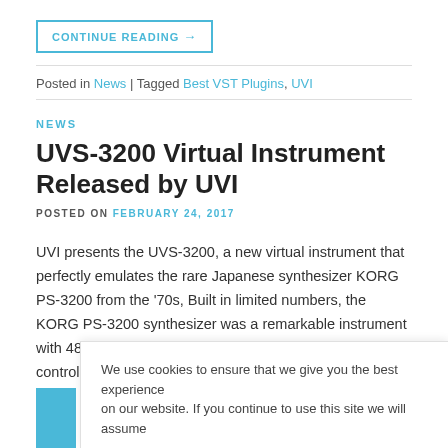CONTINUE READING →
Posted in News | Tagged Best VST Plugins, UVI
NEWS
UVS-3200 Virtual Instrument Released by UVI
POSTED ON FEBRUARY 24, 2017
UVI presents the UVS-3200, a new virtual instrument that perfectly emulates the rare Japanese synthesizer KORG PS-3200 from the '70s, Built in limited numbers, the KORG PS-3200 synthesizer was a remarkable instrument with 48-voice polyphonic engine and a unique keyboard controller with scalable CV joystick. The PS-3200 also featu
We use cookies to ensure that we give you the best experience on our website. If you continue to use this site we will assume